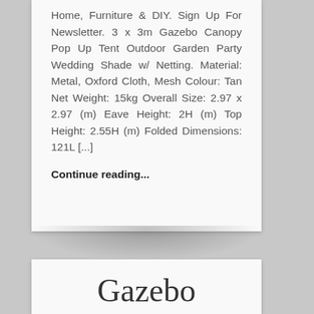Home, Furniture & DIY. Sign Up For Newsletter. 3 x 3m Gazebo Canopy Pop Up Tent Outdoor Garden Party Wedding Shade w/ Netting. Material: Metal, Oxford Cloth, Mesh Colour: Tan Net Weight: 15kg Overall Size: 2.97 x 2.97 (m) Eave Height: 2H (m) Top Height: 2.55H (m) Folded Dimensions: 121L [...]
Continue reading...
Gazebo